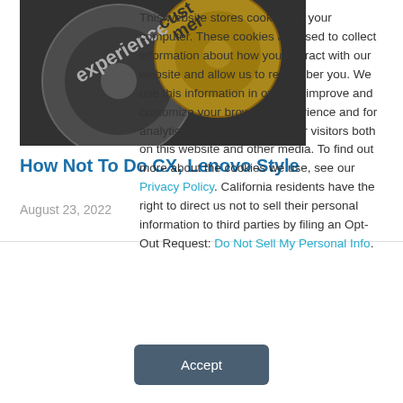[Figure (photo): Close-up photo of interlocking gears with text 'customer experience' engraved, in silver and gold colors]
How Not To Do CX, Lenovo Style
August 23, 2022
This website stores cookies on your computer. These cookies are used to collect information about how you interact with our website and allow us to remember you. We use this information in order to improve and customize your browsing experience and for analytics and metrics about our visitors both on this website and other media. To find out more about the cookies we use, see our Privacy Policy. California residents have the right to direct us not to sell their personal information to third parties by filing an Opt-Out Request: Do Not Sell My Personal Info.